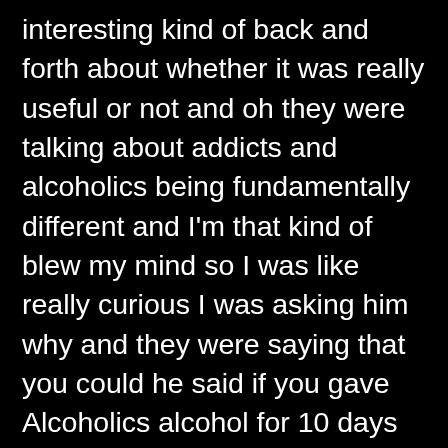interesting kind of back and forth about whether it was really useful or not and oh they were talking about addicts and alcoholics being fundamentally different and I'm that kind of blew my mind so I was like really curious I was asking him why and they were saying that you could he said if you gave Alcoholics alcohol for 10 days straight only like 1 in 10 would become an alcoholic or if he gave people alcohol for 10 days straight one in 10 would become an alcoholic but if you gave people heroin for 10 days straight ten out of ten would be heroin addicts and I was like what like I've never heard that kind of research no and I don't agree with that either I think that's I mean from what I've known the scientific aspect of it that's actually false yeah and that's and anecdotally the evidence